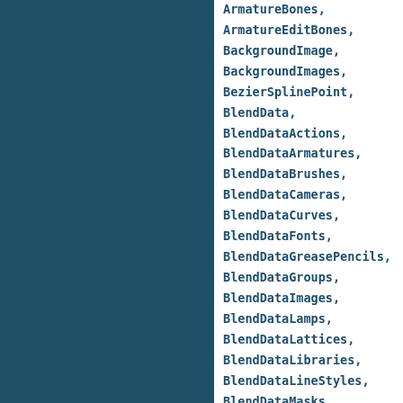ArmatureBones,
ArmatureEditBones,
BackgroundImage,
BackgroundImages,
BezierSplinePoint,
BlendData,
BlendDataActions,
BlendDataArmatures,
BlendDataBrushes,
BlendDataCameras,
BlendDataCurves,
BlendDataFonts,
BlendDataGreasePencils,
BlendDataGroups,
BlendDataImages,
BlendDataLamps,
BlendDataLattices,
BlendDataLibraries,
BlendDataLineStyles,
BlendDataMasks,